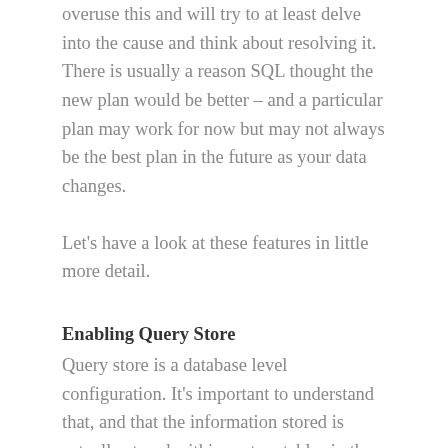overuse this and will try to at least delve into the cause and think about resolving it. There is usually a reason SQL thought the new plan would be better – and a particular plan may work for now but may not always be the best plan in the future as your data changes.
Let's have a look at these features in little more detail.
Enabling Query Store
Query store is a database level configuration. It's important to understand that, and that the information stored is actually stored within system tables in the database. That means that if you backup and restore the database, the information is retained. Also very importantly, the information is stored